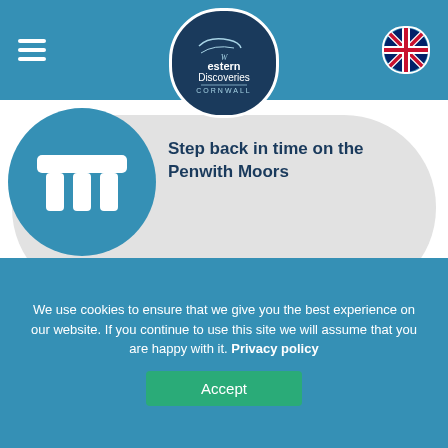Western Discoveries Cornwall
Step back in time on the Penwith Moors
What's Included...
We use cookies to ensure that we give you the best experience on our website. If you continue to use this site we will assume that you are happy with it. Privacy policy
Accept